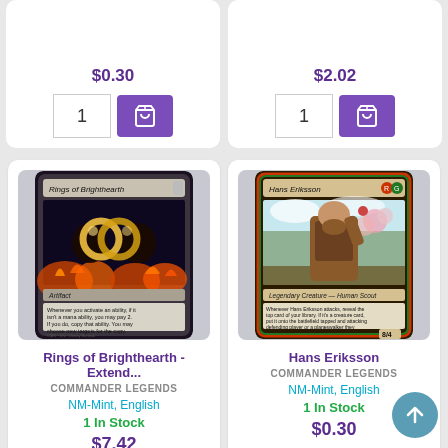$0.30 (price, top left card, partially visible)
$2.02 (price, top right card, partially visible)
[Figure (screenshot): Rings of Brighthearth extended art Magic: The Gathering card showing glowing golden rings held in dark hands with fire background, labeled 'Artifact']
Rings of Brighthearth - Extend...
COMMANDER LEGENDS
NM-Mint, English
1 In Stock
$7.42
1
[Figure (screenshot): Hans Eriksson Magic: The Gathering card showing a large bearded man in armor outdoors, labeled 'Legendary Creature - Human Scout', with flavor text and 8/4 power/toughness]
Hans Eriksson
COMMANDER LEGENDS
NM-Mint, English
1 In Stock
$0.30
1